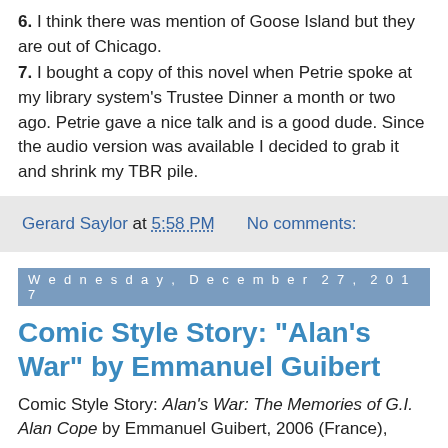6. I think there was mention of Goose Island but they are out of Chicago.
7. I bought a copy of this novel when Petrie spoke at my library system's Trustee Dinner a month or two ago. Petrie gave a nice talk and is a good dude. Since the audio version was available I decided to grab it and shrink my TBR pile.
Gerard Saylor at 5:58 PM   No comments:
Wednesday, December 27, 2017
Comic Style Story: "Alan's War" by Emmanuel Guibert
Comic Style Story: Alan's War: The Memories of G.I. Alan Cope by Emmanuel Guibert, 2006 (France),
Guibert was 30 when he met the 69-year-old Cope. Cope was, apparently, a master storyteller and Guibert and Cope became friends. Guibert decided to draw and write Cope's life story to just after WWII.